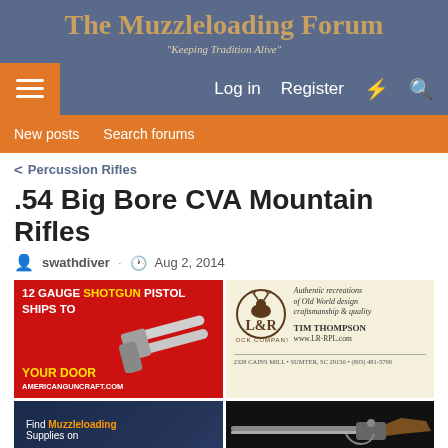The Muzzleloading Forum
"Keeping Tradition Alive"
≡  Log in   Register
New posts   Search forums
< Percussion Rifles
.54 Big Bore CVA Mountain Rifles
swathdiver · Aug 2, 2014
[Figure (photo): 12 Gauge Shotgun Pistol ad - Ships To Your Door - AMERICANGUNCRAFT.COM, on red background with silver double-barrel pistol]
[Figure (photo): L&R Lock Company ad - Authentic recreations of Old World design craftsmanship & quality, TIM THOMPSON www.LR-RPL.com, 2328 Cains Mill, Sumter, SC 29156, (803) 481-5790]
[Figure (photo): Amazon ad - Find Muzzleloading Supplies on amazon, muzzleloadingforum.com, dark blue background with flintlock pistol]
[Figure (photo): Davide Pedersoli ad - Our Flintlock Doubles, black background with antique rifle]